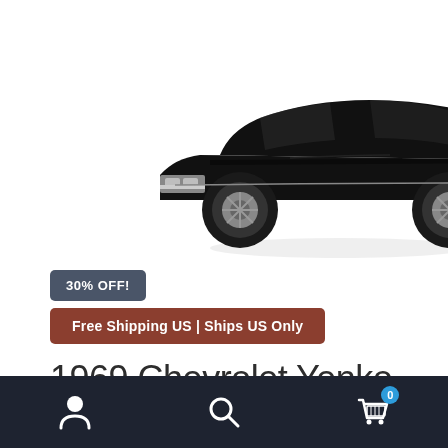[Figure (photo): Black 1969 Chevrolet Yenko Nova SS die-cast model car photographed from front-left angle on white background]
30% OFF!
Free Shipping US | Ships US Only
1969 Chevrolet Yenko Nova SS Gloss Black with Matt Black Top MCACN"